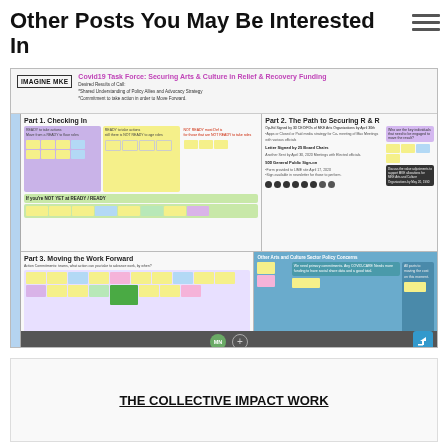Other Posts You May Be Interested In
[Figure (screenshot): Screenshot of a Covid19 Task Force web page: Securing Arts & Culture in Relief & Recovery Funding, showing three parts (Checking In, The Path to Securing R&R, Moving the Work Forward) with sticky note boards, dot voting circles, and collaboration sections, plus a bottom toolbar with MN avatar.]
THE COLLECTIVE IMPACT WORK